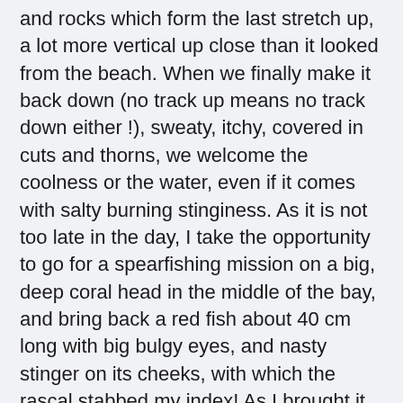and rocks which form the last stretch up, a lot more vertical up close than it looked from the beach. When we finally make it back down (no track up means no track down either !), sweaty, itchy, covered in cuts and thorns, we welcome the coolness or the water, even if it comes with salty burning stinginess. As it is not too late in the day, I take the opportunity to go for a spearfishing mission on a big, deep coral head in the middle of the bay, and bring back a red fish about 40 cm long with big bulgy eyes, and nasty stinger on its cheeks, with which the rascal stabbed my index! As I brought it back to shore to ask the locals if it was safe to eat and if I needed to worry about the sting, they confirmed it was good to eat and I was going to be in pain and numb for a couple of hours, but no need to cut my finger, what a relief! Just then a boat arrives and unloads a ton of gear, along with 4 Saudi Arabians and their Australian & Fijian guides who came here for